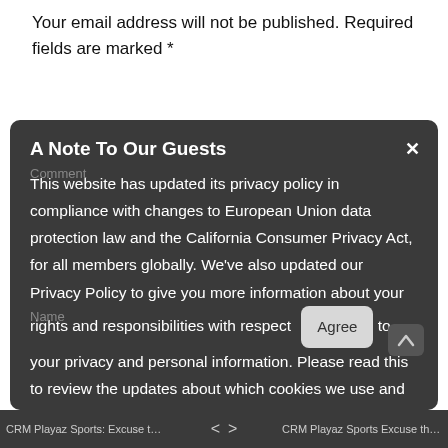Your email address will not be published. Required fields are marked *
A Note To Our Guests
Comment
This website has updated its privacy policy in compliance with changes to European Union data protection law and the California Consumer Privacy Act, for all members globally. We’ve also updated our Privacy Policy to give you more information about your rights and responsibilities with respect to your privacy and personal information. Please read this to review the updates about which cookies we use and what information we collect on our site. By continuing to use this site, you are agreeing to our updated privacy policy.
Name
CRM Playaz Sports: Excuse the In...  <  >  CRM Playaz Sports Excuse the In...